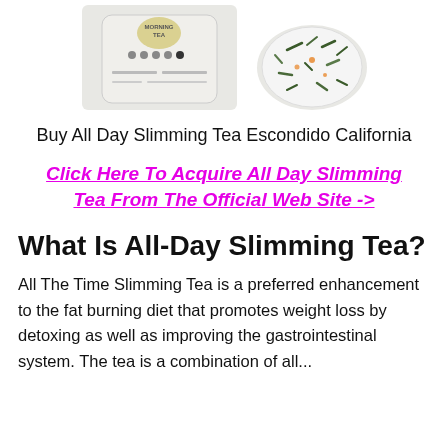[Figure (photo): Product image of Morning Tea bag pouch and loose tea leaves in a bowl]
Buy All Day Slimming Tea Escondido California
Click Here To Acquire All Day Slimming Tea From The Official Web Site ->
What Is All-Day Slimming Tea?
All The Time Slimming Tea is a preferred enhancement to the fat burning diet that promotes weight loss by detoxing as well as improving the gastrointestinal system. The tea is a combination of all...